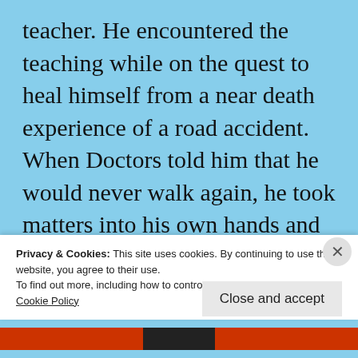teacher. He encountered the teaching while on the quest to heal himself from a near death experience of a road accident. When Doctors told him that he would never walk again, he took matters into his own hands and found the healing powers of Ashtanga Vinyasa Yoga, Meditation and Pranayama.
Privacy & Cookies: This site uses cookies. By continuing to use this website, you agree to their use.
To find out more, including how to control cookies, see here:
Cookie Policy
Close and accept